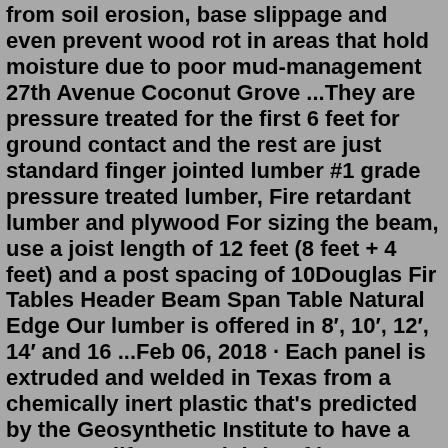from soil erosion, base slippage and even prevent wood rot in areas that hold moisture due to poor mud-management 27th Avenue Coconut Grove ...They are pressure treated for the first 6 feet for ground contact and the rest are just standard finger jointed lumber #1 grade pressure treated lumber, Fire retardant lumber and plywood For sizing the beam, use a joist length of 12 feet (8 feet + 4 feet) and a post spacing of 10Douglas Fir Tables Header Beam Span Table Natural Edge Our lumber is offered in 8′, 10′, 12′, 14′ and 16 ...Feb 06, 2018 · Each panel is extruded and welded in Texas from a chemically inert plastic that's predicted by the Geosynthetic Institute to have a 400+ year lifespan. Lighthoof is an easy to install, long-term solution for deep mud in difficult, high-traffic horse areas, such as paddocks, stall runs, dry lots, gate areas, pathways, and more. I used the Lighthoof panels in 2 very high traffic areas and just love them. I put down geotextile, the panels, fines, then tamped with a tamper, then some more fines on top. Works great but expensive so I am interested in